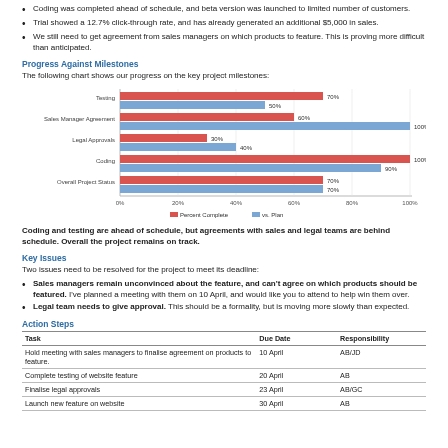Coding was completed ahead of schedule, and beta version was launched to limited number of customers.
Trial showed a 12.7% click-through rate, and has already generated an additional $5,000 in sales.
We still need to get agreement from sales managers on which products to feature. This is proving more difficult than anticipated.
Progress Against Milestones
The following chart shows our progress on the key project milestones:
[Figure (grouped-bar-chart): Progress Against Milestones]
Coding and testing are ahead of schedule, but agreements with sales and legal teams are behind schedule. Overall the project remains on track.
Key Issues
Two issues need to be resolved for the project to meet its deadline:
Sales managers remain unconvinced about the feature, and can't agree on which products should be featured. I've planned a meeting with them on 10 April, and would like you to attend to help win them over.
Legal team needs to give approval. This should be a formality, but is moving more slowly than expected.
Action Steps
| Task | Due Date | Responsibility |
| --- | --- | --- |
| Hold meeting with sales managers to finalise agreement on products to feature. | 10 April | AB/JD |
| Complete testing of website feature | 20 April | AB |
| Finalise legal approvals | 23 April | AB/GC |
| Launch new feature on website | 30 April | AB |